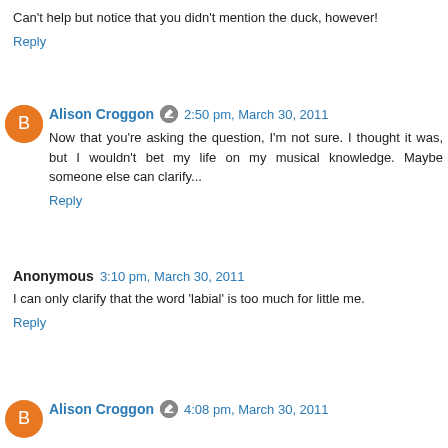Can't help but notice that you didn't mention the duck, however!
Reply
Alison Croggon 2:50 pm, March 30, 2011
Now that you're asking the question, I'm not sure. I thought it was, but I wouldn't bet my life on my musical knowledge. Maybe someone else can clarify...
Reply
Anonymous 3:10 pm, March 30, 2011
I can only clarify that the word 'labial' is too much for little me.
Reply
Alison Croggon 4:08 pm, March 30, 2011